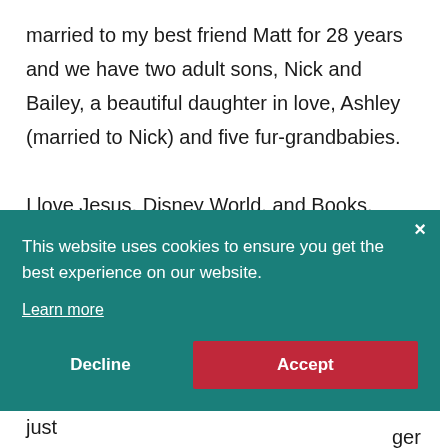married to my best friend Matt for 28 years and we have two adult sons, Nick and Bailey, a beautiful daughter in love, Ashley (married to Nick) and five fur-grandbabies.

I love Jesus, Disney World, and Books,
[Figure (screenshot): Cookie consent banner with teal background. Contains message 'This website uses cookies to ensure you get the best experience on our website.' with a 'Learn more' link, and two buttons: 'Decline' and 'Accept' (red). A close X button is in the top right corner.]
and do what God is calling them to do but just